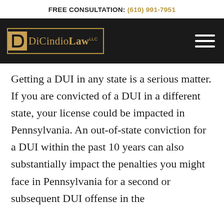FREE CONSULTATION: (610) 991-7951
[Figure (logo): DiCindio Law LLC logo with golden D icon and border on dark background, with hamburger menu icon]
Getting a DUI in any state is a serious matter. If you are convicted of a DUI in a different state, your license could be impacted in Pennsylvania. An out-of-state conviction for a DUI within the past 10 years can also substantially impact the penalties you might face in Pennsylvania for a second or subsequent DUI offense in the